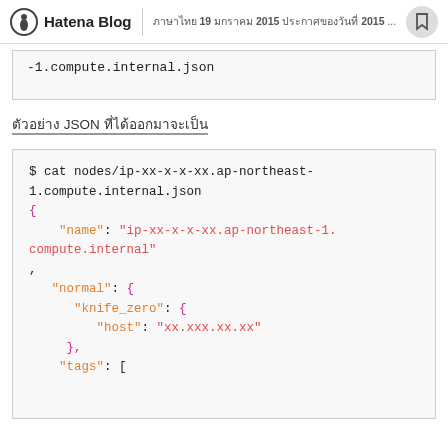Hatena Blog | ภาษาไทย 19 มกราคม 2015 ประกาศของวันที่ 2015 ...
-1.compute.internal.json
ตัวอย่าง JSON ที่ได้ออกมาจะเป็น
$ cat nodes/ip-xx-x-x-xx.ap-northeast-1.compute.internal.json
{
    "name": "ip-xx-x-x-xx.ap-northeast-1.compute.internal",
    "normal": {
      "knife_zero": {
        "host": "xx.xxx.xx.xx"
      },
      "tags": [